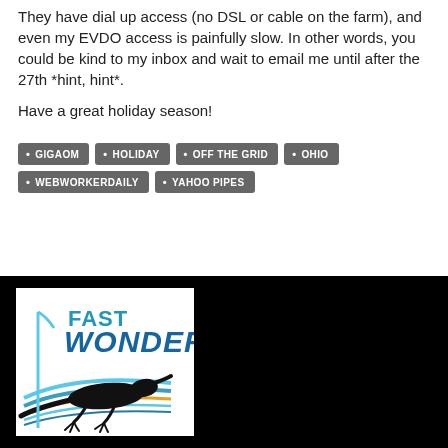They have dial up access (no DSL or cable on the farm), and even my EVDO access is painfully slow. In other words, you could be kind to my inbox and wait to email me until after the 27th *hint, hint*.
Have a great holiday season!
GIGAOM
HOLIDAY
OFF THE GRID
OHIO
WEBWORKERDAILY
YAHOO PIPES
[Figure (logo): Fast Wonder logo with a lizard/skink illustration and blue curved lines, text reads FAST WONDER]